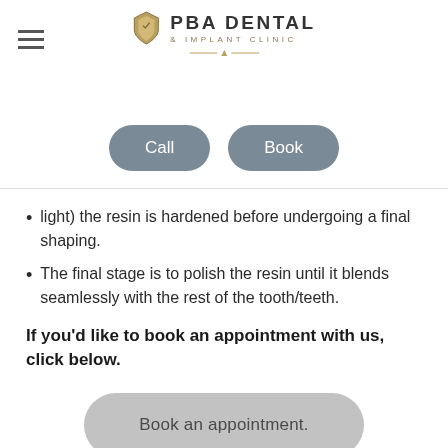PBA Dental & Implant Clinic
light) the resin is hardened before undergoing a final shaping.
The final stage is to polish the resin until it blends seamlessly with the rest of the tooth/teeth.
If you'd like to book an appointment with us, click below.
Book an appointment.